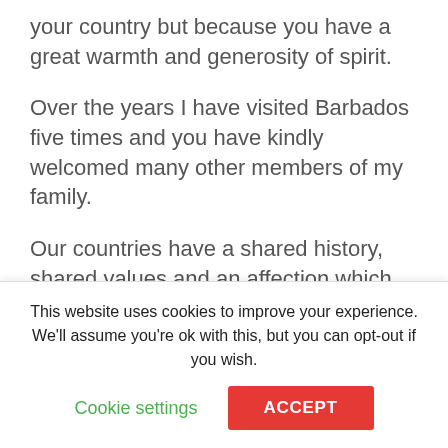your country but because you have a great warmth and generosity of spirit.
Over the years I have visited Barbados five times and you have kindly welcomed many other members of my family.
Our countries have a shared history, shared values and an affection which continues to bind us in friendship. On this day of celebration, I send my congratulations to you on your Golden Jubilee of Independence.
Later, Prince Harry and Rihanna sat next to each other on stage at a concert at Kensington Oval cricket ground in Bridgetown.
This website uses cookies to improve your experience. We'll assume you're ok with this, but you can opt-out if you wish.
Cookie settings
ACCEPT